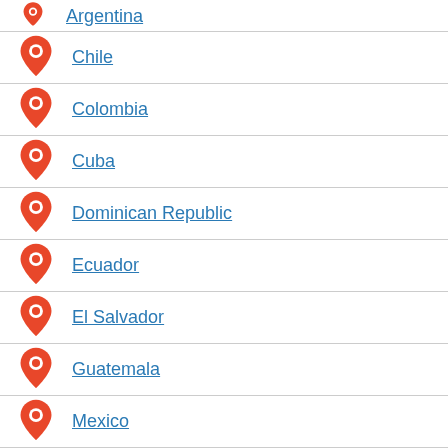Argentina
Chile
Colombia
Cuba
Dominican Republic
Ecuador
El Salvador
Guatemala
Mexico
Panama